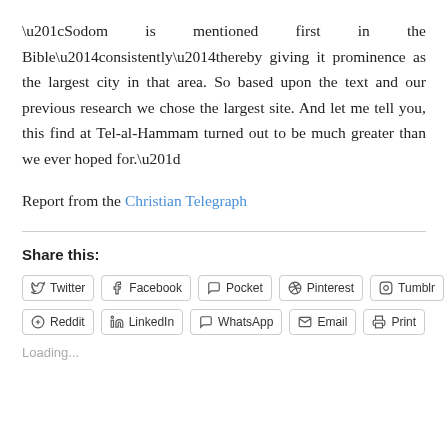“Sodom is mentioned first in the Bible—consistently—thereby giving it prominence as the largest city in that area. So based upon the text and our previous research we chose the largest site. And let me tell you, this find at Tel-al-Hammam turned out to be much greater than we ever hoped for.”
Report from the Christian Telegraph
Share this:
Twitter Facebook Pocket Pinterest Tumblr Reddit LinkedIn WhatsApp Email Print
Loading...